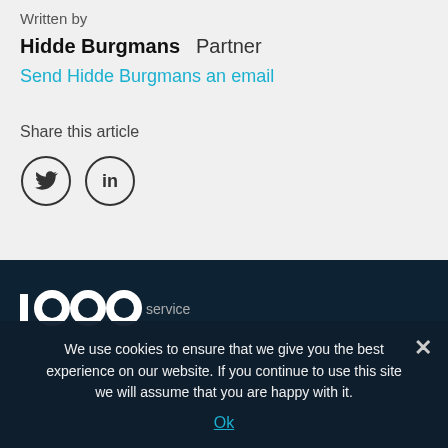Written by
Hidde Burgmans   Partner
Send Hidde Burgmans an email
Share this article
[Figure (illustration): Twitter and LinkedIn social sharing icons (circles with bird and 'in' symbols)]
[Figure (logo): Company logo in white text on dark background with 'service' label]
We use cookies to ensure that we give you the best experience on our website. If you continue to use this site we will assume that you are happy with it.
Ok